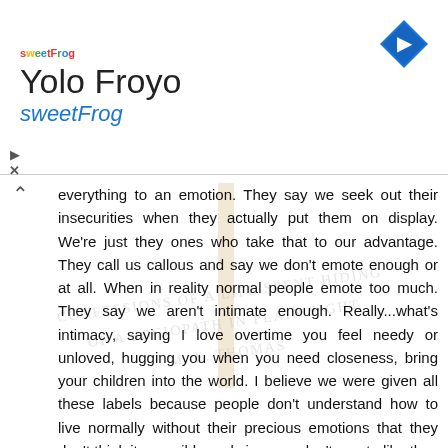[Figure (logo): sweetFrog logo with colorful letters and Yolo Froyo text, navigation arrow icon top right]
everything to an emotion. They say we seek out their insecurities when they actually put them on display. We're just they ones who take that to our advantage. They call us callous and say we don't emote enough or at all. When in reality normal people emote too much. They say we aren't intimate enough. Really...what's intimacy, saying I love overtime you feel needy or unloved, hugging you when you need closeness, bring your children into the world. I believe we were given all these labels because people don't understand how to live normally without their precious emotions that they don't think its possible and since we don't emote like they do and were usually deceitful and more manipulating and callous than they are that we're immediately cast as not normal because they aren't. Normal people aren't normal they're just more of them so anyone who isn't an copy is weird or non normal.
Reply